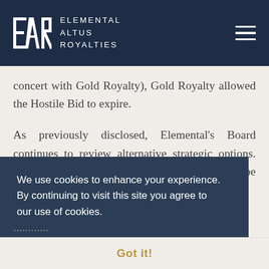Elemental Altus Royalties
concert with Gold Royalty), Gold Royalty allowed the Hostile Bid to expire.
As previously disclosed, Elemental's Board continues to review alternative strategic options. Elemental cautions shareholders that there can be no certainty of a transaction, and alternative [strategic options may or may not result in] other [transactions].
We use cookies to enhance your experience. By continuing to visit this site you agree to our use of cookies.
Got it!